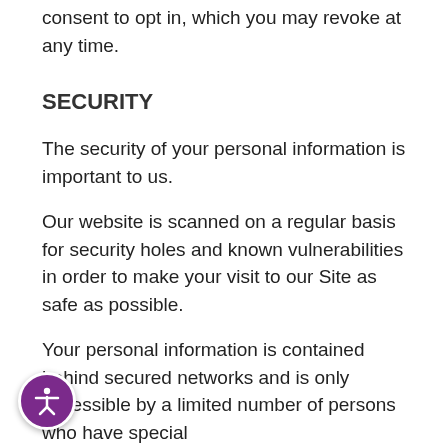consent to opt in, which you may revoke at any time.
SECURITY
The security of your personal information is important to us.
Our website is scanned on a regular basis for security holes and known vulnerabilities in order to make your visit to our Site as safe as possible.
Your personal information is contained behind secured networks and is only accessible by a limited number of persons who have special access rights to such systems, and are required to keep the information confidential.